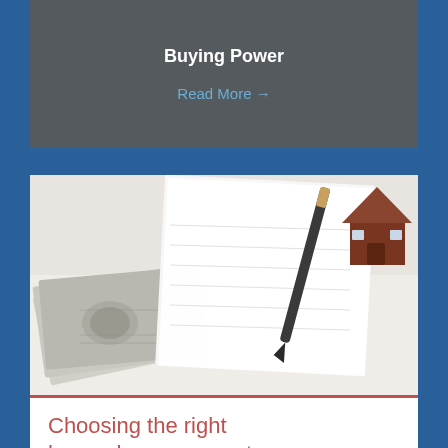Buying Power
Read More →
[Figure (photo): Photo of US dollar bills, a notepad with a pen, and a small wooden house model on a white surface]
Choosing the right home down payment
Choosing the Right Home Down Payment
Read More